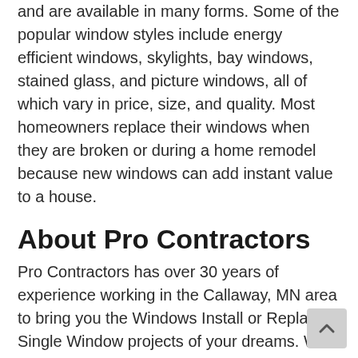and are available in many forms. Some of the popular window styles include energy efficient windows, skylights, bay windows, stained glass, and picture windows, all of which vary in price, size, and quality. Most homeowners replace their windows when they are broken or during a home remodel because new windows can add instant value to a house.
About Pro Contractors
Pro Contractors has over 30 years of experience working in the Callaway, MN area to bring you the Windows Install or Replace Single Window projects of your dreams. We believe in the quality of a job over the quantity of jobs we are doing. We always oversee every aspect of a job from first drawing to the final cleanup. We treat your family like it was our own so you can always trust that your Windows Install or